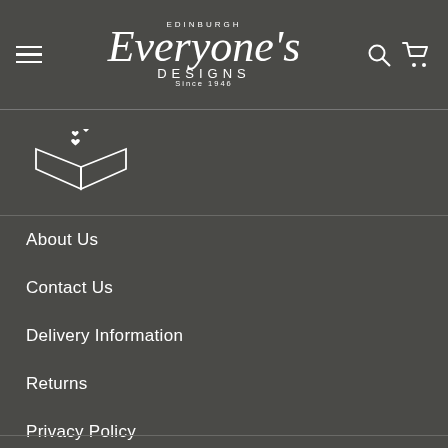Edinburgh Everyone's Designs Since 1946 — Navigation header with hamburger menu, logo, search and cart icons
[Figure (logo): Open book with hearts icon — Everyone's Designs brand symbol in white on dark background]
About Us
Contact Us
Delivery Information
Returns
Privacy Policy
Terms & Conditions